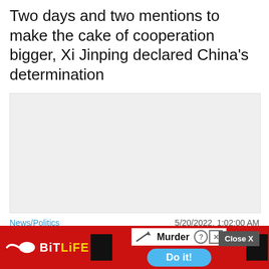Two days and two mentions to make the cake of cooperation bigger, Xi Jinping declared China's determination
[Figure (photo): Light gray placeholder image box, likely for a news article photo]
News/Politics   5/20/2022, 1:02:00 AM
Make the cake of cooperation bigger and create a better future——Interpretation of President Xi Jinping's speech at the celebration of the 70th anniversary of the...
[Figure (screenshot): BitLife mobile game advertisement banner at the bottom of the page, with red background, BitLife logo, Murder word and Do it! button]